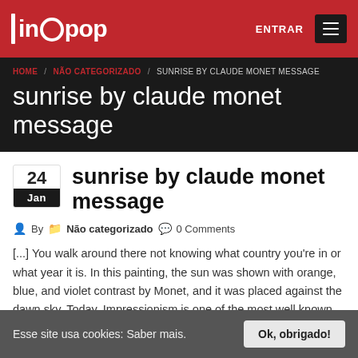inopop — ENTRAR
sunrise by claude monet message
HOME / NÃO CATEGORIZADO / SUNRISE BY CLAUDE MONET MESSAGE
sunrise by claude monet message
24 Jan — By — Não categorizado — 0 Comments
[...] You walk around there not knowing what country you're in or what year it is. In this painting, the sun was shown with orange, blue, and violet contrast by Monet, and it was placed against the dawn sky. Today, Impressionism is one of the most well known and beloved
Esse site usa cookies: Saber mais. Ok, obrigado!